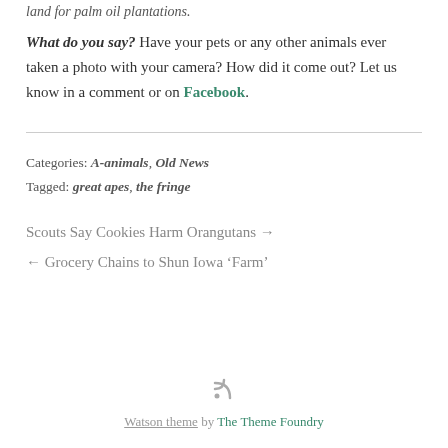land for palm oil plantations.
What do you say? Have your pets or any other animals ever taken a photo with your camera? How did it come out? Let us know in a comment or on Facebook.
Categories: A-animals, Old News
Tagged: great apes, the fringe
Scouts Say Cookies Harm Orangutans →
← Grocery Chains to Shun Iowa 'Farm'
Watson theme by The Theme Foundry